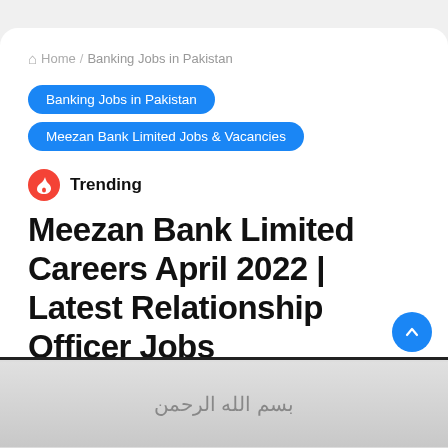Home / Banking Jobs in Pakistan
Banking Jobs in Pakistan
Meezan Bank Limited Jobs & Vacancies
Trending
Meezan Bank Limited Careers April 2022 | Latest Relationship Officer Jobs
Abbiii • April 20, 2022 🔥 34,760 📌 2 minutes read
[Figure (photo): Preview of a document/image at the bottom of the page, partially visible, with Arabic/Urdu script text]